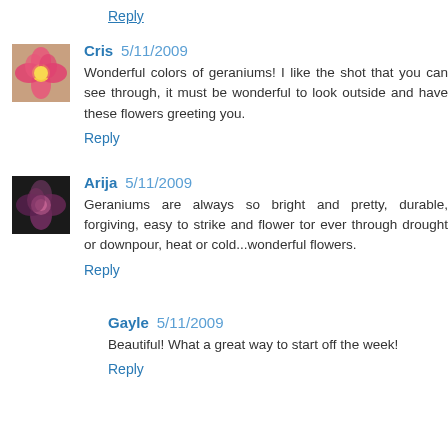Reply
Cris 5/11/2009
Wonderful colors of geraniums! I like the shot that you can see through, it must be wonderful to look outside and have these flowers greeting you.
Reply
Arija 5/11/2009
Geraniums are always so bright and pretty, durable, forgiving, easy to strike and flower tor ever through drought or downpour, heat or cold...wonderful flowers.
Reply
Gayle 5/11/2009
Beautiful! What a great way to start off the week!
Reply